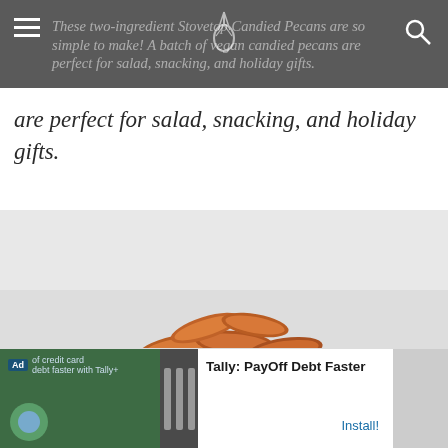These two-ingredient Stovetop Candied Pecans are so simple to make! A batch of vegan candied pecans are perfect for salad, snacking, and holiday gifts.
are perfect for salad, snacking, and holiday gifts.
[Figure (photo): A glass jar filled with a pile of golden-brown candied pecans against a white background.]
Ad · Tally: PayOff Debt Faster · Install!